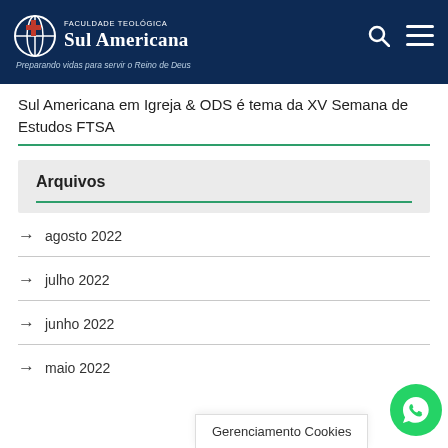Faculdade Teológica Sul Americana — Preparando vidas para servir o Reino de Deus
Sul Americana em Igreja & ODS é tema da XV Semana de Estudos FTSA
Arquivos
agosto 2022
julho 2022
junho 2022
maio 2022
Gerenciamento Cookies